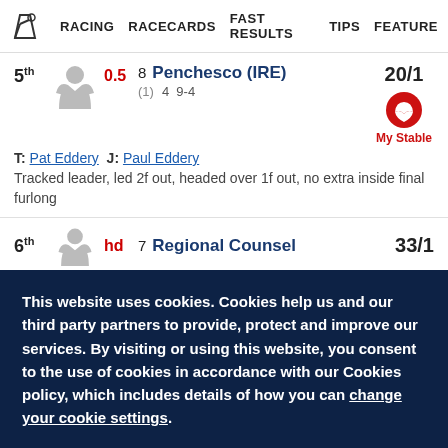RACING   RACECARDS   FAST RESULTS   TIPS   FEATURE
5th 0.5 8 Penchesco (IRE) 20/1 (1) 4 9-4 T: Pat Eddery J: Paul Eddery Tracked leader, led 2f out, headed over 1f out, no extra inside final furlong
6th hd 7 Regional Counsel 33/1
This website uses cookies. Cookies help us and our third party partners to provide, protect and improve our services. By visiting or using this website, you consent to the use of cookies in accordance with our Cookies policy, which includes details of how you can change your cookie settings.
I accept